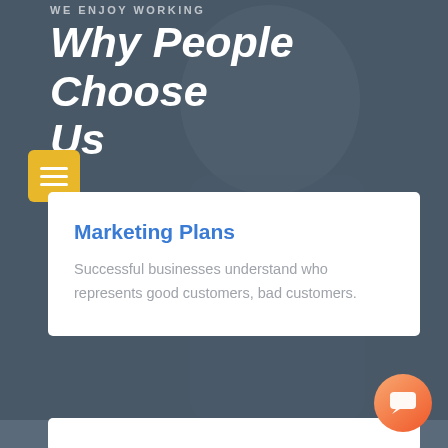WE ENJOY WORKING
Why People Choose Us
Marketing Plans
Successful businesses understand who represents good customers, bad customers.